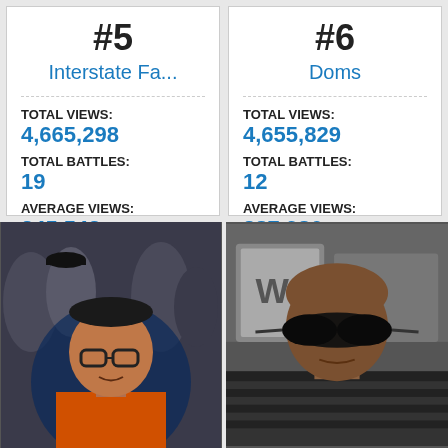#5
Interstate Fa...
TOTAL VIEWS: 4,665,298
TOTAL BATTLES: 19
AVERAGE VIEWS: 245,542
#6
Doms
TOTAL VIEWS: 4,655,829
TOTAL BATTLES: 12
AVERAGE VIEWS: 387,986
[Figure (photo): Man with glasses and orange shirt in a crowd]
[Figure (photo): Man with dark sunglasses in a striped shirt]